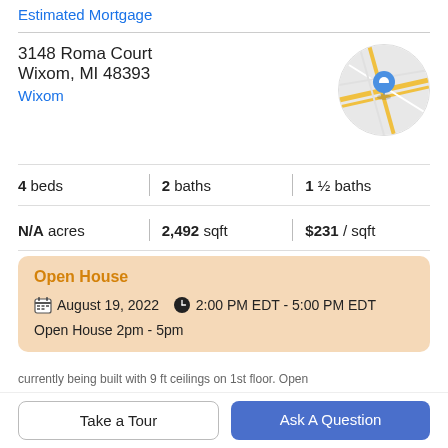Estimated Mortgage
3148 Roma Court
Wixom, MI 48393
Wixom
[Figure (map): Circular map thumbnail showing street map with blue location pin]
4 beds | 2 baths | 1 ½ baths
N/A acres | 2,492 sqft | $231 / sqft
Open House
August 19, 2022  2:00 PM EDT - 5:00 PM EDT
Open House 2pm - 5pm
Property Description
Take a Tour
Ask A Question
currently being built with 9 ft ceilings on 1st floor. Open